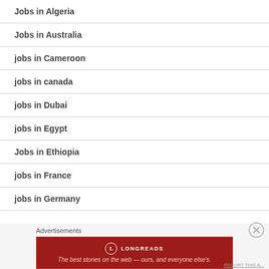Jobs in Algeria
Jobs in Australia
jobs in Cameroon
jobs in canada
jobs in Dubai
jobs in Egypt
Jobs in Ethiopia
jobs in France
jobs in Germany
Advertisements
[Figure (other): Longreads advertisement banner: The best stories on the web — ours, and everyone else's.]